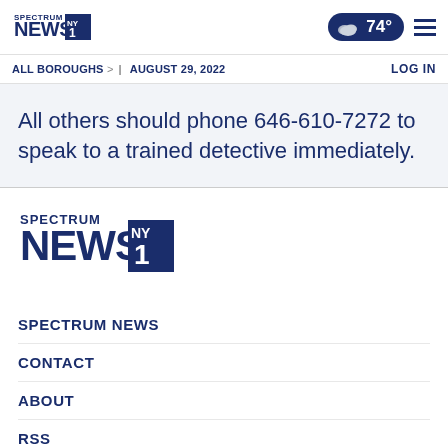Spectrum News NY1 — ALL BOROUGHS | AUGUST 29, 2022 — 74° — LOG IN
All others should phone 646-610-7272 to speak to a trained detective immediately.
[Figure (logo): Spectrum News NY1 large footer logo]
SPECTRUM NEWS
CONTACT
ABOUT
RSS